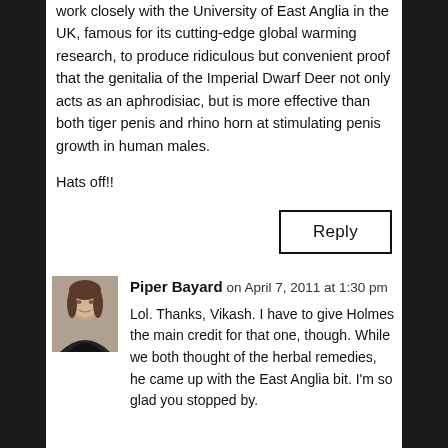work closely with the University of East Anglia in the UK, famous for its cutting-edge global warming research, to produce ridiculous but convenient proof that the genitalia of the Imperial Dwarf Deer not only acts as an aphrodisiac, but is more effective than both tiger penis and rhino horn at stimulating penis growth in human males.
Hats off!!
Reply
Piper Bayard on April 7, 2011 at 1:30 pm
Lol. Thanks, Vikash. I have to give Holmes the main credit for that one, though. While we both thought of the herbal remedies, he came up with the East Anglia bit. I'm so glad you stopped by.